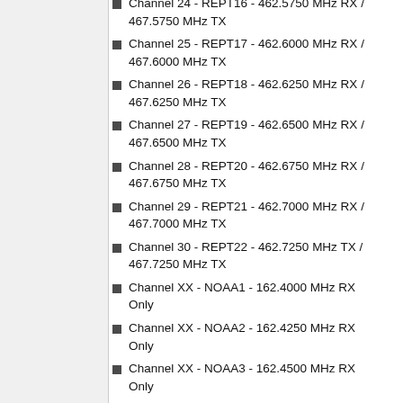Channel 25 - REPT17 - 462.6000 MHz RX / 467.6000 MHz TX
Channel 26 - REPT18 - 462.6250 MHz RX / 467.6250 MHz TX
Channel 27 - REPT19 - 462.6500 MHz RX / 467.6500 MHz TX
Channel 28 - REPT20 - 462.6750 MHz RX / 467.6750 MHz TX
Channel 29 - REPT21 - 462.7000 MHz RX / 467.7000 MHz TX
Channel 30 - REPT22 - 462.7250 MHz TX / 467.7250 MHz TX
Channel XX - NOAA1 - 162.4000 MHz RX Only
Channel XX - NOAA2 - 162.4250 MHz RX Only
Channel XX - NOAA3 - 162.4500 MHz RX Only
Channel XX - NOAA4 - 162.4750 MHz RX Only
Channel XX - NOAA5 - 162.5000 MHz RX Only